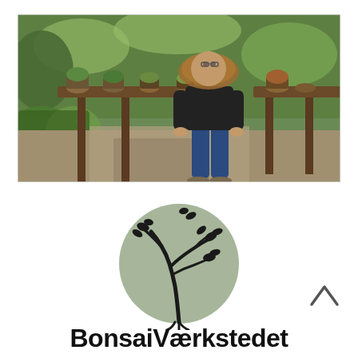[Figure (photo): Outdoor bonsai garden scene with a man in a black t-shirt and jeans standing behind a wooden table holding a bonsai plant. Multiple bonsai trees are displayed on the table. Lush green garden surroundings with trees and rocks in the background.]
[Figure (logo): BonsaiVærkstedet logo: a circular muted sage-green background with a stylized black bare tree with leaves silhouette.]
BonsaiVærkstedet